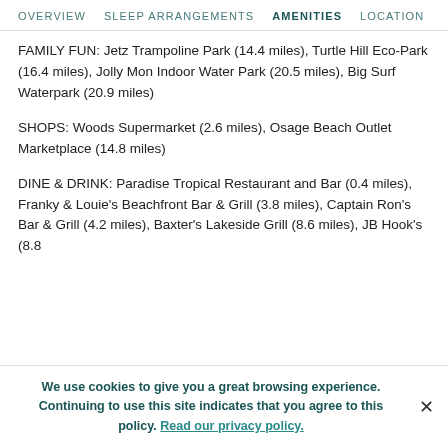OVERVIEW   SLEEP ARRANGEMENTS   AMENITIES   LOCATION
FAMILY FUN: Jetz Trampoline Park (14.4 miles), Turtle Hill Eco-Park (16.4 miles), Jolly Mon Indoor Water Park (20.5 miles), Big Surf Waterpark (20.9 miles)
SHOPS: Woods Supermarket (2.6 miles), Osage Beach Outlet Marketplace (14.8 miles)
DINE & DRINK: Paradise Tropical Restaurant and Bar (0.4 miles), Franky & Louie's Beachfront Bar & Grill (3.8 miles), Captain Ron's Bar & Grill (4.2 miles), Baxter's Lakeside Grill (8.6 miles), JB Hook's (8.8
We use cookies to give you a great browsing experience. Continuing to use this site indicates that you agree to this policy. Read our privacy policy.